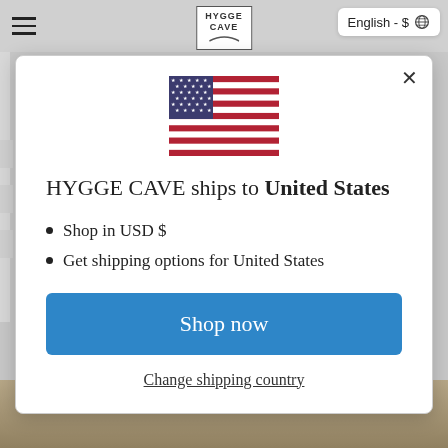[Figure (screenshot): Website header with hamburger menu, Hygge Cave logo, and English - $ language selector]
[Figure (illustration): US flag emoji/icon centered in modal]
HYGGE CAVE ships to United States
Shop in USD $
Get shipping options for United States
Shop now
Change shipping country